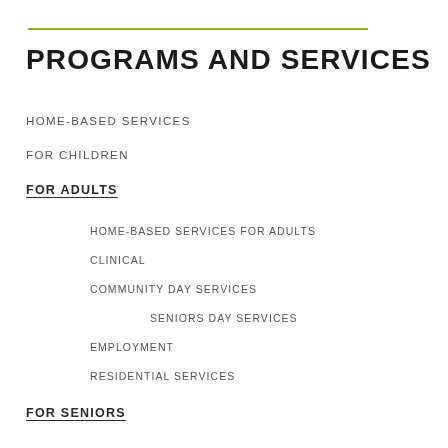PROGRAMS AND SERVICES
HOME-BASED SERVICES
FOR CHILDREN
FOR ADULTS
HOME-BASED SERVICES FOR ADULTS
CLINICAL
COMMUNITY DAY SERVICES
SENIORS DAY SERVICES
EMPLOYMENT
RESIDENTIAL SERVICES
FOR SENIORS